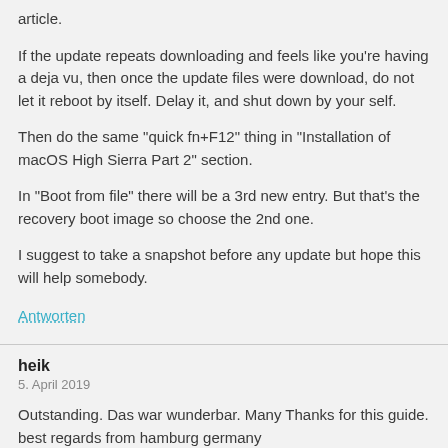article.
If the update repeats downloading and feels like you're having a deja vu, then once the update files were download, do not let it reboot by itself. Delay it, and shut down by your self.
Then do the same "quick fn+F12" thing in "Installation of macOS High Sierra Part 2" section.
In "Boot from file" there will be a 3rd new entry. But that's the recovery boot image so choose the 2nd one.
I suggest to take a snapshot before any update but hope this will help somebody.
Antworten
heik
5. April 2019
Outstanding. Das war wunderbar. Many Thanks for this guide.
best regards from hamburg germany
Antworten